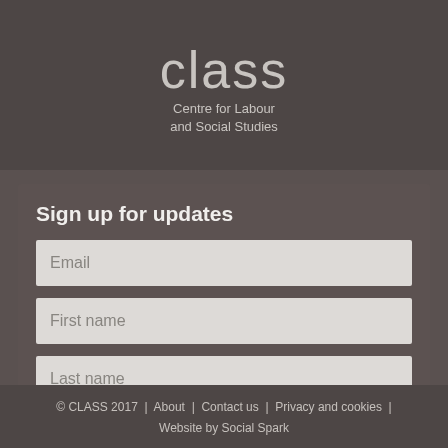[Figure (logo): CLASS - Centre for Labour and Social Studies logo with large light grey 'class' text and subtitle below]
Sign up for updates
Email
First name
Last name
Send
© CLASS 2017  |  About  |  Contact us  |  Privacy and cookies  |  Website by Social Spark